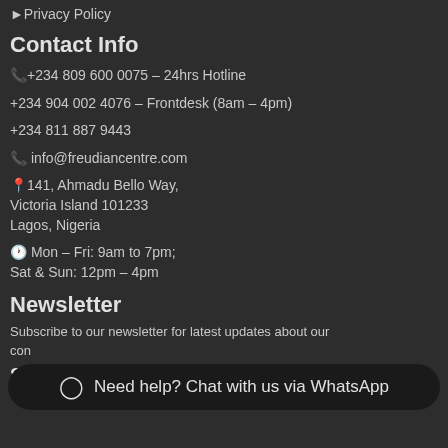▶Privacy Policy
Contact Info
📞+234 809 600 0075 – 24hrs Hotline
+234 904 002 4076 – Frontdesk (8am – 4pm)
+234 811 887 9443
📞 info@freudiancentre.com
📍141, Ahmadu Bello Way,
Victoria Island 101233
Lagos, Nigeria
🕐 Mon – Fri: 9am to 7pm;
Sat & Sun: 12pm – 4pm
Newsletter
Subscribe to our newsletter for latest updates about our con...
Need help? Chat with us via WhatsApp
Social Media Links